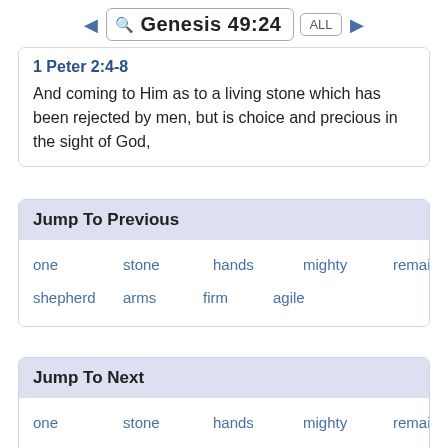Genesis 49:24
1 Peter 2:4-8
And coming to Him as to a living stone which has been rejected by men, but is choice and precious in the sight of God,
Jump To Previous
one
stone
hands
mighty
remained
bow
shepherd
arms
firm
agile
Jump To Next
one
stone
hands
mighty
remained
bow
shepherd
arms
firm
agile